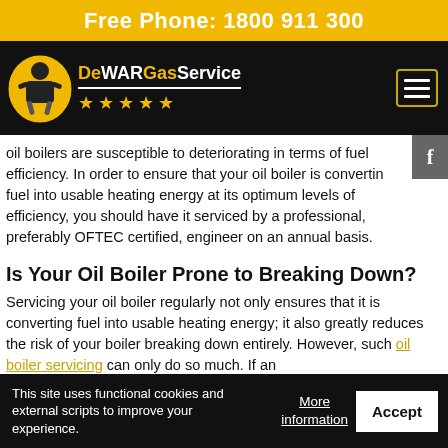Free Phone: 1800 911 300
[Figure (logo): DeWAR Gas Service logo with man holding tools in yellow circle, five yellow stars, white brand name on black background, hamburger menu icon]
oil boilers are susceptible to deteriorating in terms of fuel efficiency. In order to ensure that your oil boiler is converting fuel into usable heating energy at its optimum levels of efficiency, you should have it serviced by a professional, preferably OFTEC certified, engineer on an annual basis.
Is Your Oil Boiler Prone to Breaking Down?
Servicing your oil boiler regularly not only ensures that it is converting fuel into usable heating energy; it also greatly reduces the risk of your boiler breaking down entirely. However, such oil boiler servicing can only do so much. If an
This site uses functional cookies and external scripts to improve your experience.
More information
Accept